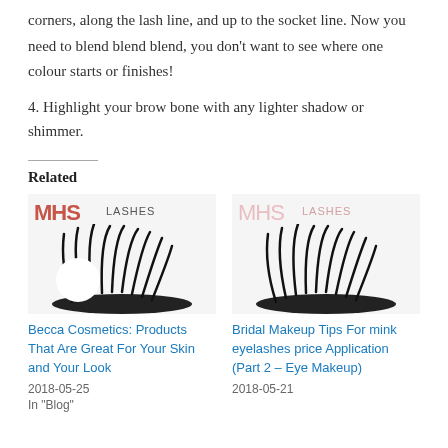corners, along the lash line, and up to the socket line. Now you need to blend blend blend, you don't want to see where one colour starts or finishes!
4. Highlight your brow bone with any lighter shadow or shimmer.
Related
[Figure (photo): MHS Lashes logo with red text and eyelashes product photo]
[Figure (photo): MHS Lashes logo with pink text and eyelashes product photo]
Becca Cosmetics: Products That Are Great For Your Skin and Your Look
2018-05-25
In "Blog"
Bridal Makeup Tips For mink eyelashes price Application (Part 2 – Eye Makeup)
2018-05-21